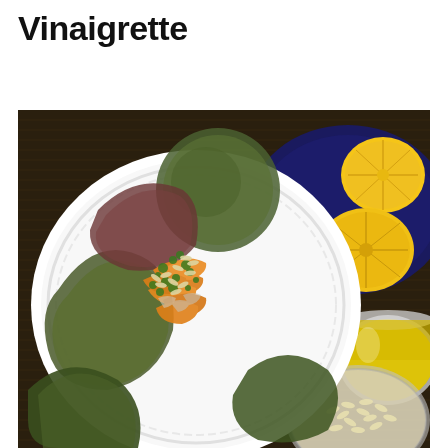Vinaigrette
[Figure (photo): Overhead photo of a salad on a white decorative plate with dark green and reddish butter lettuce leaves, shredded carrots, chopped herbs, and sunflower seeds. To the upper right are two halved lemons on a dark blue plate. Bottom right shows a glass bowl of sunflower seeds and a glass jar of golden dressing/oil, all on a dark bamboo mat background.]